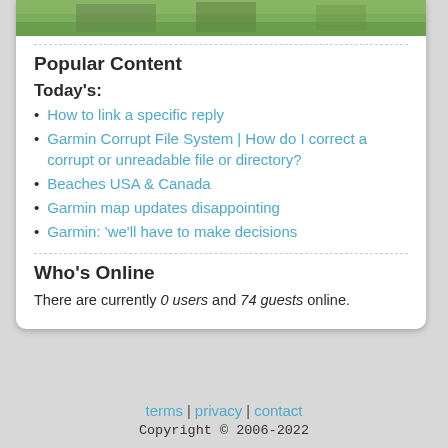[Figure (photo): Outdoor photo strip showing green grass and trees/structures]
Popular Content
Today's:
How to link a specific reply
Garmin Corrupt File System | How do I correct a corrupt or unreadable file or directory?
Beaches USA & Canada
Garmin map updates disappointing
Garmin: 'we'll have to make decisions
Who's Online
There are currently 0 users and 74 guests online.
terms | privacy | contact
Copyright © 2006-2022